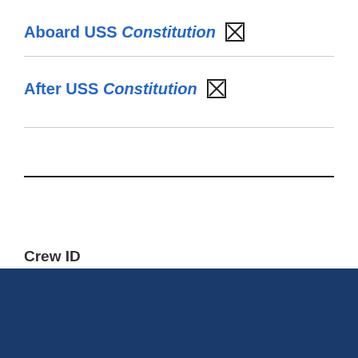Aboard USS Constitution ☒
After USS Constitution ☒
Crew ID
1435